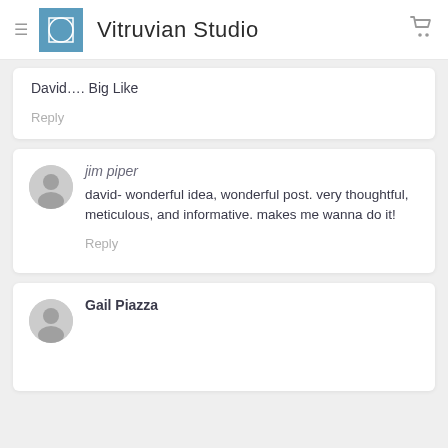[Figure (logo): Vitruvian Studio logo with blue square icon and text]
David…. Big Like
Reply
jim piper
david- wonderful idea, wonderful post. very thoughtful, meticulous, and informative. makes me wanna do it!
Reply
Gail Piazza